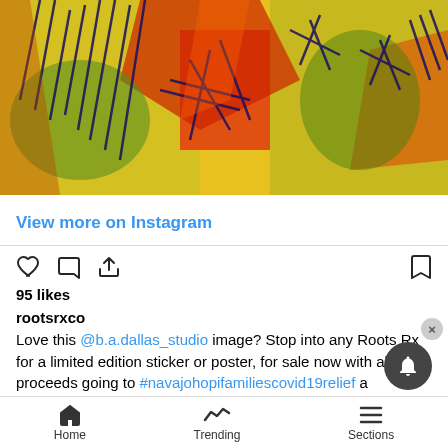[Figure (illustration): Colorful abstract illustration with yellow, red, orange, and green colors with dark line art resembling figures or plants.]
View more on Instagram
95 likes
rootsrxco
Love this @b.a.dallas_studio image? Stop into any Roots Rx for a limited edition sticker or poster, for sale now with all proceeds going to #navajohopifamiliescovid19relief a volunteer based organization bringing food and supplies to the elders and immune compromised that live in the vast lands of these Native American tribes. We will also ship these posters and stickers, just send us a DM. Thanks for your support! 🙏
view all 5 comments
Home  Trending  Sections